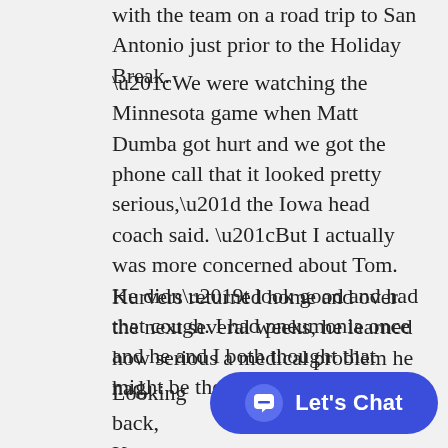with the team on a road trip to San Antonio just prior to the Holiday Break.
“We were watching the Minnesota game when Matt Dumba got hurt and we got the phone call that it looked pretty serious,” the Iowa head coach said. “But I actually was more concerned about Tom. He didn’t look good and had that cough. I had pneumonia once and he and I both thought that might be the problem.”
Kurvers returned home and over the next several weeks, he learned how serious a medical problem he had.
Looking back, Kurvers remembered how overwhelmed he felt by h and how he had to deal w
[Figure (other): A blue rounded-rectangle chat button with speech bubble icon and 'Let's Chat' text label]